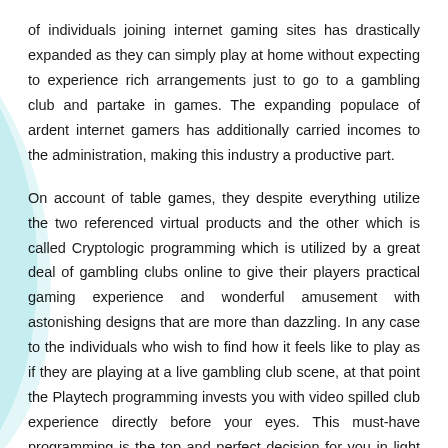of individuals joining internet gaming sites has drastically expanded as they can simply play at home without expecting to experience rich arrangements just to go to a gambling club and partake in games. The expanding populace of ardent internet gamers has additionally carried incomes to the administration, making this industry a productive part.
On account of table games, they despite everything utilize the two referenced virtual products and the other which is called Cryptologic programming which is utilized by a great deal of gambling clubs online to give their players practical gaming experience and wonderful amusement with astonishing designs that are more than dazzling. In any case to the individuals who wish to find how it feels like to play as if they are playing at a live gambling club scene, at that point the Playtech programming invests you with video spilled club experience directly before your eyes. This must-have programming is the top and perfect decision for you in light of the fact that not exclusively would you